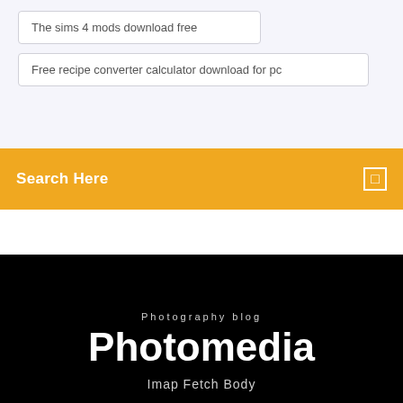The sims 4 mods download free
Free recipe converter calculator download for pc
Search Here
Photography blog
Photomedia
Imap Fetch Body